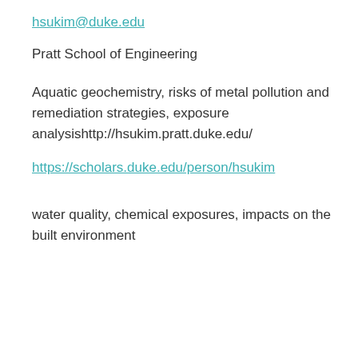hsukim@duke.edu
Pratt School of Engineering
Aquatic geochemistry, risks of metal pollution and remediation strategies, exposure analysishttp://hsukim.pratt.duke.edu/
https://scholars.duke.edu/person/hsukim
water quality, chemical exposures, impacts on the built environment